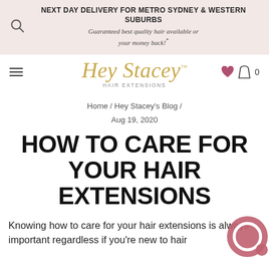NEXT DAY DELIVERY FOR METRO SYDNEY & WESTERN SUBURBS
Guaranteed best quality hair available or your money back!*
[Figure (logo): Hey Stacey Hair Extensions script logo in gold with TM mark]
Home / Hey Stacey's Blog /
Aug 19, 2020
HOW TO CARE FOR YOUR HAIR EXTENSIONS
Knowing how to care for your hair extensions is always important regardless if you're new to hair extensions or not. It's important to care for